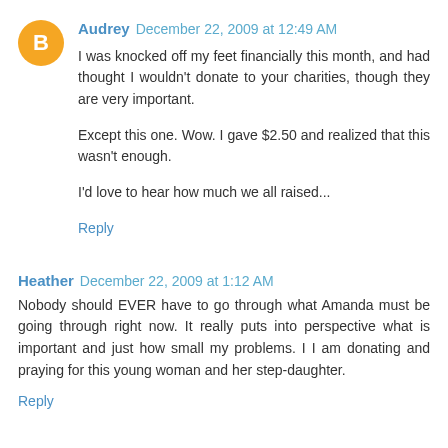[Figure (other): Orange circular Blogger avatar icon with white 'B' letter]
Audrey December 22, 2009 at 12:49 AM
I was knocked off my feet financially this month, and had thought I wouldn't donate to your charities, though they are very important.

Except this one. Wow. I gave $2.50 and realized that this wasn't enough.

I'd love to hear how much we all raised...
Reply
Heather December 22, 2009 at 1:12 AM
Nobody should EVER have to go through what Amanda must be going through right now. It really puts into perspective what is important and just how small my problems. I I am donating and praying for this young woman and her step-daughter.
Reply